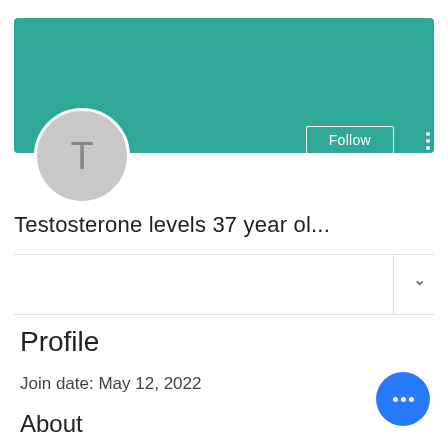[Figure (screenshot): Teal/green banner header background for a user profile page]
[Figure (illustration): Circular grey avatar with letter T]
Follow
Testosterone levels 37 year ol...
Profile
Join date: May 12, 2022
About